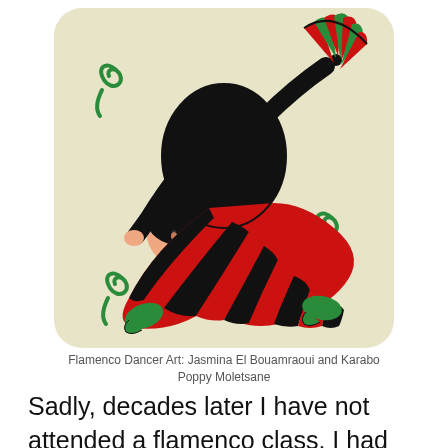[Figure (illustration): Illustration of a flamenco dancer in a red and black striped dress, holding a red and green fan, arching backward. The dancer wears green shoes. Decorative green swirl elements surround her. Background is a beige/cream rounded rectangle.]
Flamenco Dancer Art: Jasmina El Bouamraoui and Karabo Poppy Moletsane
Sadly, decades later I have not attended a flamenco class. I had the chance when I studied